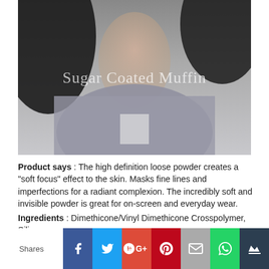[Figure (photo): A woman with dark hair wearing a grey sleeveless top, watermark text 'Sugar Coated Muffin' overlaid in white semi-transparent text]
Product says : The high definition loose powder creates a "soft focus" effect to the skin. Masks fine lines and imperfections for a radiant complexion. The incredibly soft and invisible powder is great for on-screen and everyday wear.
Ingredients : Dimethicone/Vinyl Dimethicone Crosspolymer, Silica.
Size : 3.5 oz
Price : RM 30 (Jaldi 3) / $6
Shares